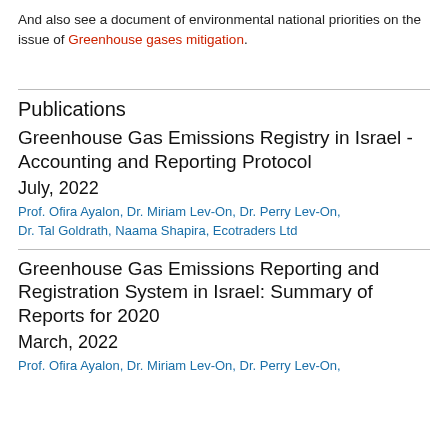And also see a document of environmental national priorities on the issue of Greenhouse gases mitigation.
Publications
Greenhouse Gas Emissions Registry in Israel - Accounting and Reporting Protocol
July, 2022
Prof. Ofira Ayalon, Dr. Miriam Lev-On, Dr. Perry Lev-On, Dr. Tal Goldrath, Naama Shapira, Ecotraders Ltd
Greenhouse Gas Emissions Reporting and Registration System in Israel: Summary of Reports for 2020
March, 2022
Prof. Ofira Ayalon, Dr. Miriam Lev-On, Dr. Perry Lev-On,